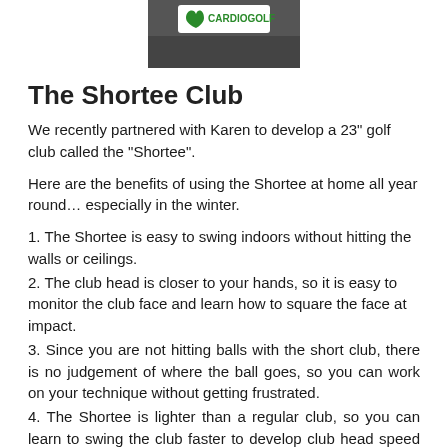[Figure (photo): Top portion of a person wearing a shirt with a CardioGolf logo visible]
The Shortee Club
We recently partnered with Karen to develop a 23" golf club called the “Shortee”.
Here are the benefits of using the Shortee at home all year round… especially in the winter.
1. The Shortee is easy to swing indoors without hitting the walls or ceilings.
2. The club head is closer to your hands, so it is easy to monitor the club face and learn how to square the face at impact.
3. Since you are not hitting balls with the short club, there is no judgement of where the ball goes, so you can work on your technique without getting frustrated.
4. The Shortee is lighter than a regular club, so you can learn to swing the club faster to develop club head speed and proper body turn.
[Figure (photo): Person bent over demonstrating golf technique indoors]